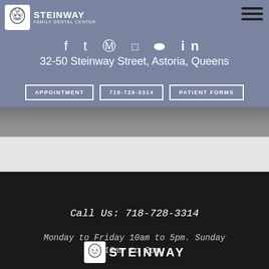STEINWAY FAMILY DENTAL CENTER
32-50 Steinway Street, Astoria, Queens
APPOINTMENT | 718-728-3314 | PATIENT FORMS
Call Us: 718-728-3314
Monday to Friday 10am to 5pm. Sunday 10am to 2pm.
[Figure (logo): Steinway Family Dental Center logo with tooth mascot icon]
STEINWAY